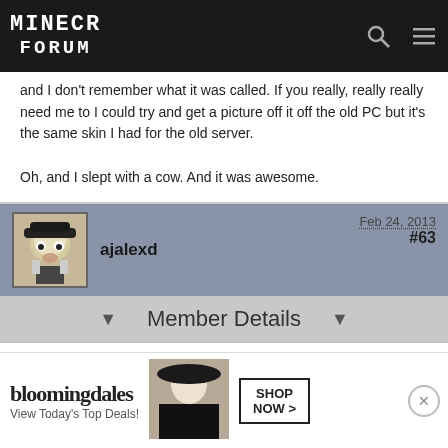Minecraft Forum
and I don't remember what it was called. If you really, really really need me to I could try and get a picture off it off the old PC but it's the same skin I had for the old server.

Oh, and I slept with a cow. And it was awesome.
ajalexd  Feb 24, 2013  #63
Member Details
Quote from bigjfizzyo

Minecraft account name: (Need it for white-listing) sargeantbutters
Country of Residence and Time Zone: (So we know when the best time to restart/update is) USA, Eastern Standard Time
Do you have any experience roleplaying? (It IS a roleplay server after all) Yeah, I used to roleplay on some forums + I write.
Why [playe...]
Have [...]
[Figure (other): Bloomingdales advertisement banner with model in hat, Shop Now button, View Today's Top Deals text]